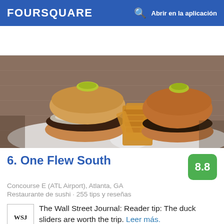FOURSQUARE  🔍  Abrir en la aplicación
[Figure (photo): Two duck sliders on a plate with sweet potato chips between them, each slider topped with a pickle slice on a bun]
6. One Flew South  8.8
Concourse E (ATL Airport), Atlanta, GA
Restaurante de sushi · 255 tips y reseñas
The Wall Street Journal: Reader tip: The duck sliders are worth the trip. Leer más.